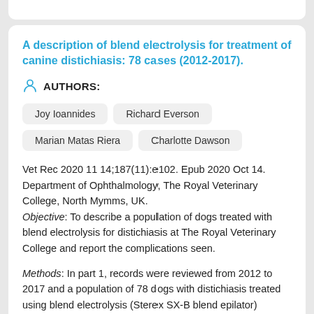A description of blend electrolysis for treatment of canine distichiasis: 78 cases (2012-2017).
AUTHORS:
Joy Ioannides
Richard Everson
Marian Matas Riera
Charlotte Dawson
Vet Rec 2020 11 14;187(11):e102. Epub 2020 Oct 14. Department of Ophthalmology, The Royal Veterinary College, North Mymms, UK.
Objective: To describe a population of dogs treated with blend electrolysis for distichiasis at The Royal Veterinary College and report the complications seen.
Methods: In part 1, records were reviewed from 2012 to 2017 and a population of 78 dogs with distichiasis treated using blend electrolysis (Sterex SX-B blend epilator) analysed. In part 2, 18 dogs treated with blend